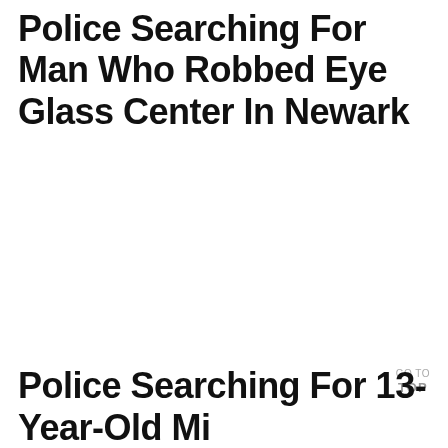Police Searching For Man Who Robbed Eye Glass Center In Newark
GO TO TOP
Police Searching For 13-Year-Old Mi...